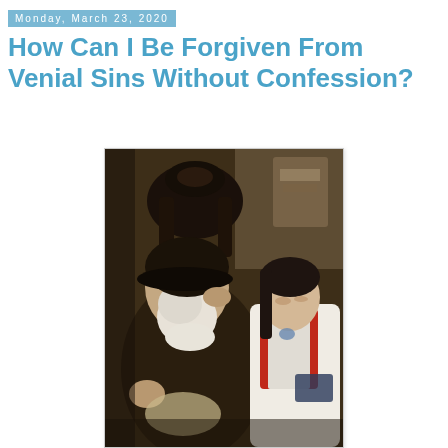Monday, March 23, 2020
How Can I Be Forgiven From Venial Sins Without Confession?
[Figure (illustration): Classical oil painting depicting an elderly bearded man seated in an ornate dark wooden chair, dressed in dark robes with a white collar, resting his head on one hand in a contemplative or sorrowful pose. A young woman with dark hair wearing a white blouse and red vest stands beside him, leaning toward him with a downcast expression, holding a small book or object.]